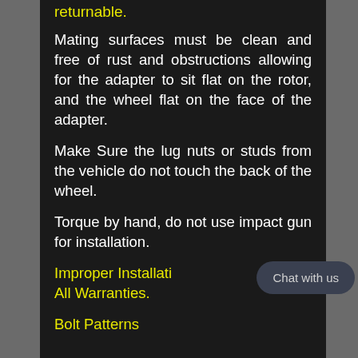returnable.
Mating surfaces must be clean and free of rust and obstructions allowing for the adapter to sit flat on the rotor, and the wheel flat on the face of the adapter.
Make Sure the lug nuts or studs from the vehicle do not touch the back of the wheel.
Torque by hand, do not use impact gun for installation.
Improper Installati… All Warranties.
Bolt Patterns